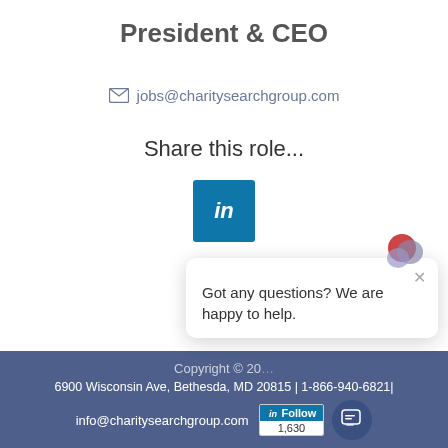President & CEO
jobs@charitysearchgroup.com
Share this role...
[Figure (logo): LinkedIn share button (blue square with 'in' text)]
[Figure (screenshot): Chat widget popup: colorful logo icon, close button (×), text 'Got any questions? We are happy to help.']
Copyright © 20… | 6900 Wisconsin Ave, Bethesda, MD 20815 | 1-866-940-6821| info@charitysearchgroup.com | LinkedIn Follow 1,630